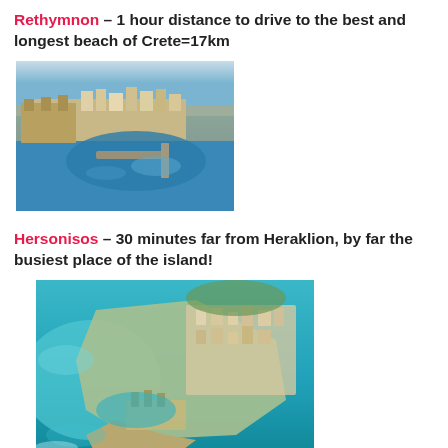Rethymnon – 1 hour distance to drive to the best and longest beach of Crete=17km
[Figure (photo): Aerial photo of Rethymnon harbor and old town, Crete, showing the Venetian fortress, harbor with jetties, blue sea and dense urban buildings]
Hersonisos – 30 minutes far from Heraklion, by far the busiest place of the island!
[Figure (photo): Aerial photo of Hersonisos peninsula and harbor, Crete, showing turquoise sea, rocky headland with ancient ruins, beach and town]